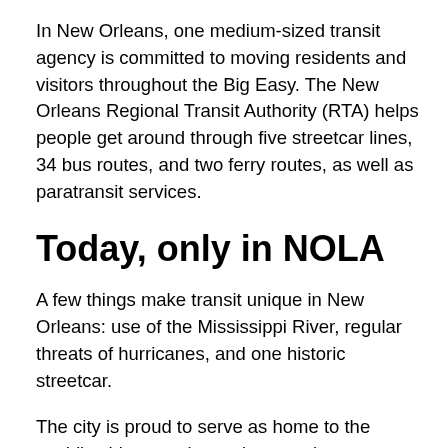In New Orleans, one medium-sized transit agency is committed to moving residents and visitors throughout the Big Easy. The New Orleans Regional Transit Authority (RTA) helps people get around through five streetcar lines, 34 bus routes, and two ferry routes, as well as paratransit services.
Today, only in NOLA
A few things make transit unique in New Orleans: use of the Mississippi River, regular threats of hurricanes, and one historic streetcar.
The city is proud to serve as home to the world's oldest continuously operating streetcar line, the St. Charles — a beloved historic line running since 1835. The line, which takes about 40 minutes one full way, travels from the edge